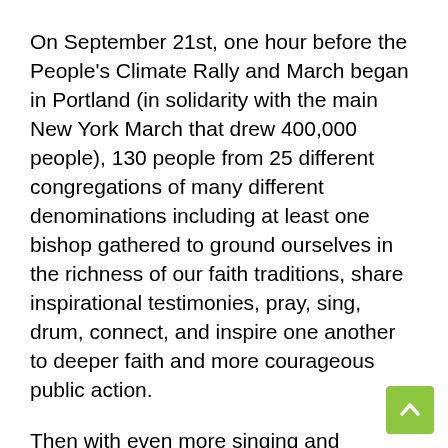On September 21st, one hour before the People's Climate Rally and March began in Portland (in solidarity with the main New York March that drew 400,000 people), 130 people from 25 different congregations of many different denominations including at least one bishop gathered to ground ourselves in the richness of our faith traditions, share inspirational testimonies, pray, sing, drum, connect, and inspire one another to deeper faith and more courageous public action.
Then with even more singing and drumming we proceeded down to the march together where we were joined by literally hundreds more people of faith whom EcoFaith leaders had invited to the event, utilizing the relational network and sharing resources through the technologies they had established through EcoFaith Recovery.
In the process we joined other faith-based organizations in turning out a powerful presence of people of faith committed